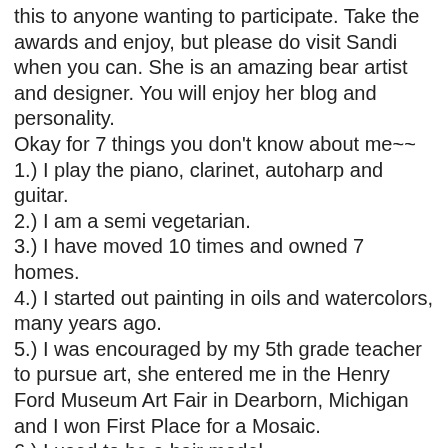this to anyone wanting to participate. Take the awards and enjoy, but please do visit Sandi when you can. She is an amazing bear artist and designer. You will enjoy her blog and personality.
Okay for 7 things you don't know about me~~
1.) I play the piano, clarinet, autoharp and guitar.
2.) I am a semi vegetarian.
3.) I have moved 10 times and owned 7 homes.
4.) I started out painting in oils and watercolors, many years ago.
5.) I was encouraged by my 5th grade teacher to pursue art, she entered me in the Henry Ford Museum Art Fair in Dearborn, Michigan and I won First Place for a Mosaic.
6.) I used to be a hair model.
7.) I was in a documentary for ABC local news on pedicure spas. (was a nervous wreak)LOL!!
That's it, my 7 things.
Thank you Sandi for the awards. This seems the perfect way to transition into my new direction for the new year of an award free blog. The reason mainly is I have heard from many that the load time for my blog and others takes too long. So, I plan to take these pics off helping to make my blog easier to load. Right now they are in a second blog if...